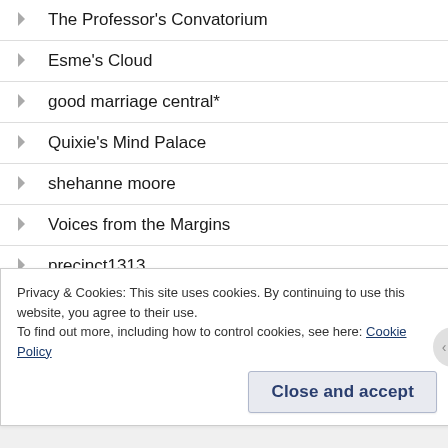The Professor's Convatorium
Esme's Cloud
good marriage central*
Quixie's Mind Palace
shehanne moore
Voices from the Margins
precinct1313
Spartan Eye
Privacy & Cookies: This site uses cookies. By continuing to use this website, you agree to their use.
To find out more, including how to control cookies, see here: Cookie Policy
Close and accept